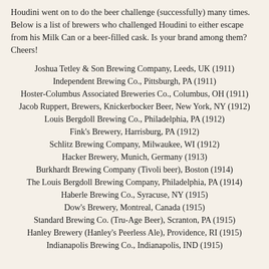Houdini went on to do the beer challenge (successfully) many times. Below is a list of brewers who challenged Houdini to either escape from his Milk Can or a beer-filled cask. Is your brand among them? Cheers!
Joshua Tetley & Son Brewing Company, Leeds, UK (1911)
Independent Brewing Co., Pittsburgh, PA (1911)
Hoster-Columbus Associated Breweries Co., Columbus, OH (1911)
Jacob Ruppert, Brewers, Knickerbocker Beer, New York, NY (1912)
Louis Bergdoll Brewing Co., Philadelphia, PA (1912)
Fink's Brewery, Harrisburg, PA (1912)
Schlitz Brewing Company, Milwaukee, WI (1912)
Hacker Brewery, Munich, Germany (1913)
Burkhardt Brewing Company (Tivoli beer), Boston (1914)
The Louis Bergdoll Brewing Company, Philadelphia, PA (1914)
Haberle Brewing Co., Syracuse, NY (1915)
Dow's Brewery, Montreal, Canada (1915)
Standard Brewing Co. (Tru-Age Beer), Scranton, PA (1915)
Hanley Brewery (Hanley's Peerless Ale), Providence, RI (1915)
Indianapolis Brewing Co., Indianapolis, IND (1915)